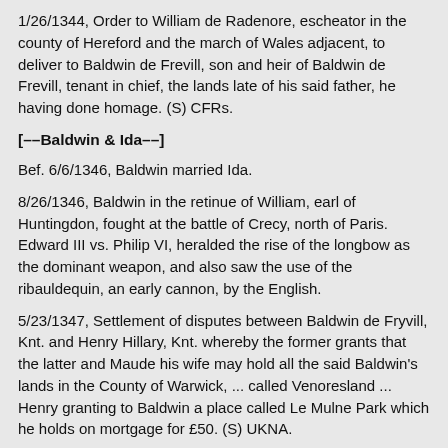1/26/1344, Order to William de Radenore, escheator in the county of Hereford and the march of Wales adjacent, to deliver to Baldwin de Frevill, son and heir of Baldwin de Frevill, tenant in chief, the lands late of his said father, he having done homage. (S) CFRs.
[––Baldwin & Ida––]
Bef. 6/6/1346, Baldwin married Ida.
8/26/1346, Baldwin in the retinue of William, earl of Huntingdon, fought at the battle of Crecy, north of Paris. Edward III vs. Philip VI, heralded the rise of the longbow as the dominant weapon, and also saw the use of the ribauldequin, an early cannon, by the English.
5/23/1347, Settlement of disputes between Baldwin de Fryvill, Knt. and Henry Hillary, Knt. whereby the former grants that the latter and Maude his wife may hold all the said Baldwin's lands in the County of Warwick, ... called Venoresland ... Henry granting to Baldwin a place called Le Mulne Park which he holds on mortgage for £50. (S) UKNA.